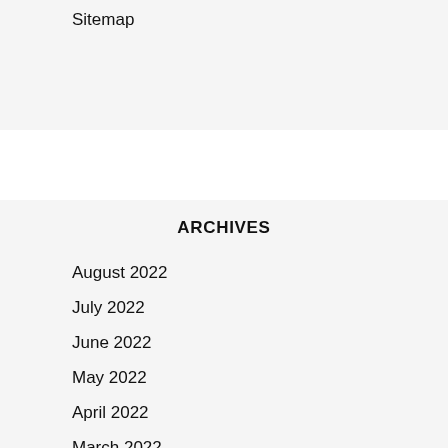Sitemap
ARCHIVES
August 2022
July 2022
June 2022
May 2022
April 2022
March 2022
February 2022